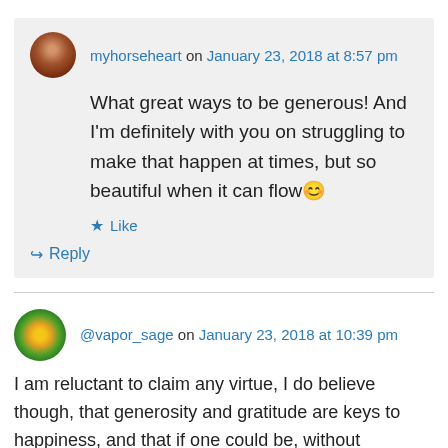myhorseheart on January 23, 2018 at 8:57 pm
What great ways to be generous! And I'm definitely with you on struggling to make that happen at times, but so beautiful when it can flow 😊
Like
Reply
@vapor_sage on January 23, 2018 at 10:39 pm
I am reluctant to claim any virtue, I do believe though, that generosity and gratitude are keys to happiness, and that if one could be, without consciousness of it, that would be ideal.